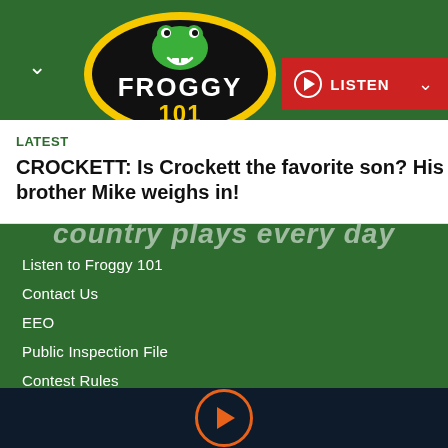[Figure (logo): Froggy 101 radio station logo - black oval with yellow border, green frog mascot, white text FROGGY and yellow text 101]
LISTEN
LATEST
CROCKETT: Is Crockett the favorite son? His brother Mike weighs in!
Listen to Froggy 101
Contact Us
EEO
Public Inspection File
Contest Rules
FCC Applications
[Figure (other): Orange outlined play button circle icon in dark navy footer bar]